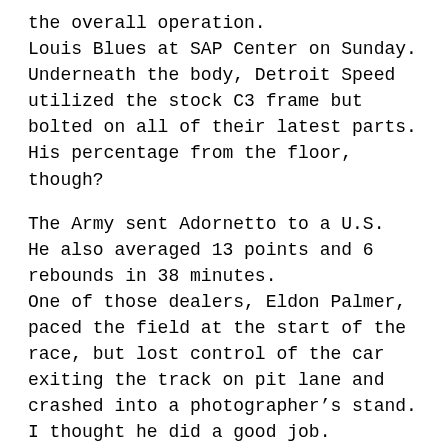the overall operation.
Louis Blues at SAP Center on Sunday.
Underneath the body, Detroit Speed utilized the stock C3 frame but bolted on all of their latest parts.
His percentage from the floor, though?
The Army sent Adornetto to a U.S.
He also averaged 13 points and 6 rebounds in 38 minutes.
One of those dealers, Eldon Palmer, paced the field at the start of the race, but lost control of the car exiting the track on pit lane and crashed into a photographer’s stand.
I thought he did a good job.